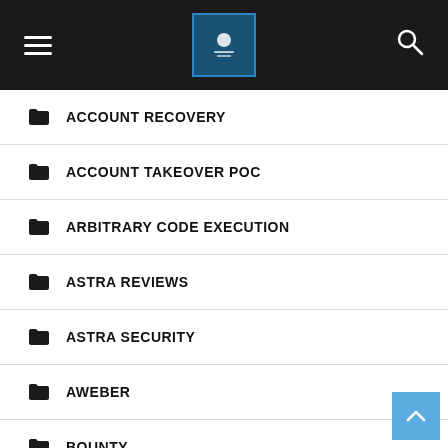Navigation header with hamburger menu, logo, and search icon
ACCOUNT RECOVERY
ACCOUNT TAKEOVER POC
ARBITRARY CODE EXECUTION
ASTRA REVIEWS
ASTRA SECURITY
AWEBER
BOUNTY
BUG BOUNTY
CHECK WEBSITE NORTON
CRYPTO MINING MALWARE